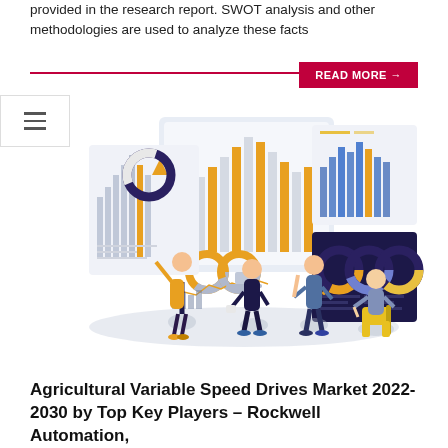provided in the research report. SWOT analysis and other methodologies are used to analyze these facts
[Figure (illustration): Business analytics illustration showing people analyzing charts and dashboards on large screens, with bar charts, donut charts, and line charts displayed]
Agricultural Variable Speed Drives Market 2022-2030 by Top Key Players – Rockwell Automation,